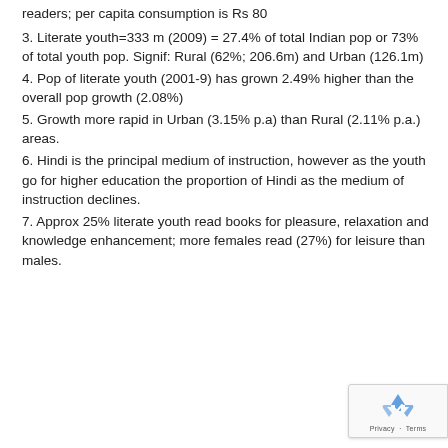readers; per capita consumption is Rs 80
3. Literate youth=333 m (2009) = 27.4% of total Indian pop or 73% of total youth pop. Signif: Rural (62%; 206.6m) and Urban (126.1m)
4. Pop of literate youth (2001-9) has grown 2.49% higher than the overall pop growth (2.08%)
5. Growth more rapid in Urban (3.15% p.a) than Rural (2.11% p.a.) areas.
6. Hindi is the principal medium of instruction, however as the youth go for higher education the proportion of Hindi as the medium of instruction declines.
7. Approx 25% literate youth read books for pleasure, relaxation and knowledge enhancement; more females read (27%) for leisure than males.